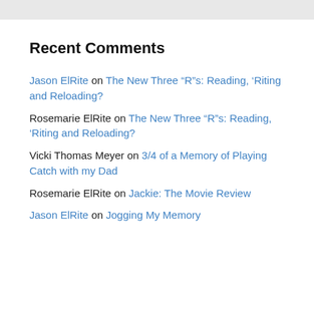Recent Comments
Jason ElRite on The New Three “R”s: Reading, ‘Riting and Reloading?
Rosemarie ElRite on The New Three “R”s: Reading, ‘Riting and Reloading?
Vicki Thomas Meyer on 3/4 of a Memory of Playing Catch with my Dad
Rosemarie ElRite on Jackie: The Movie Review
Jason ElRite on Jogging My Memory